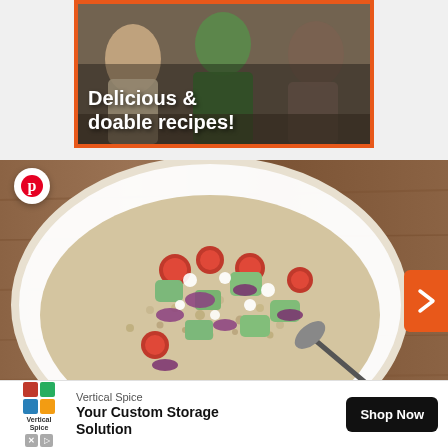[Figure (photo): Advertisement banner with orange border showing people cooking in a kitchen with overlay text 'Delicious & doable recipes!']
[Figure (photo): Close-up photo of a bowl of grain salad with tomatoes, cucumber, red onion, and feta cheese on a wooden table background, with Pinterest icon overlay and orange next arrow]
[Figure (other): Vertical Spice advertisement banner at bottom: logo with colorful grid squares, text 'Vertical Spice' and 'Your Custom Storage Solution', with black 'Shop Now' button]